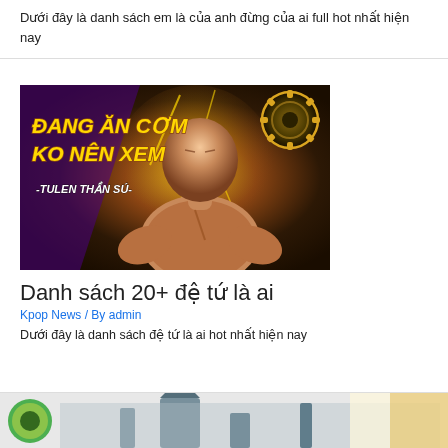Dưới đây là danh sách em là của anh đừng của ai full hot nhất hiện nay
[Figure (illustration): Anime-style muscular bald character with text overlay 'ĐANG ĂN CƠM KO NÊN XEM' and '-TULEN THẦN SÚ-' on a golden/dark background with gear motifs]
Danh sách 20+ đệ tứ là ai
Kpop News / By admin
Dưới đây là danh sách đệ tứ là ai hot nhất hiện nay
[Figure (photo): Partial image strip showing a green circle logo, a statue/monument, and golden/warm tones at the bottom of the page]